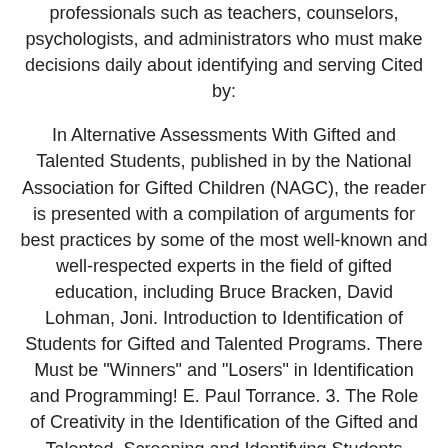professionals such as teachers, counselors, psychologists, and administrators who must make decisions daily about identifying and serving Cited by:

In Alternative Assessments With Gifted and Talented Students, published in by the National Association for Gifted Children (NAGC), the reader is presented with a compilation of arguments for best practices by some of the most well-known and well-respected experts in the field of gifted education, including Bruce Bracken, David Lohman, Joni. Introduction to Identification of Students for Gifted and Talented Programs. There Must be "Winners" and "Losers" in Identification and Programming! E. Paul Torrance. 3. The Role of Creativity in the Identification of the Gifted and Talented. Screening and Identifying Students Talented in the Visual Arts: Clark's Drawing Abilities Test. Key words: screening for gifted programs, gifted, talented, identification process. The